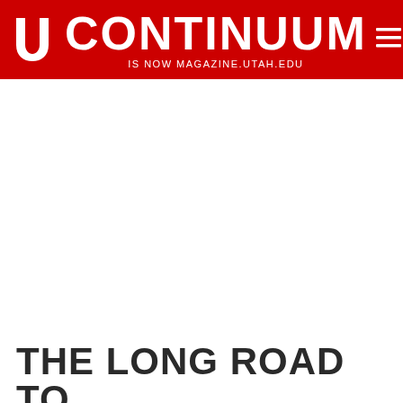CONTINUUM IS NOW MAGAZINE.UTAH.EDU
[Figure (logo): University of Utah block U logo in white on red background]
THE LONG ROAD TO